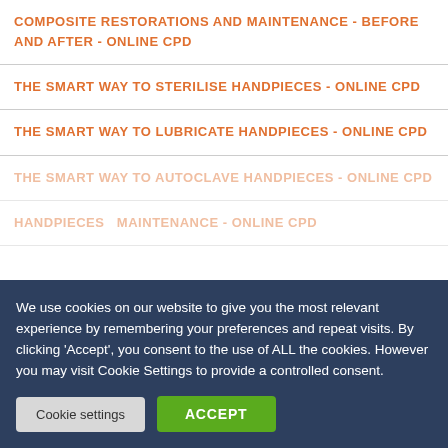COMPOSITE RESTORATIONS AND MAINTENANCE - BEFORE AND AFTER - ONLINE CPD
THE SMART WAY TO STERILISE HANDPIECES - ONLINE CPD
THE SMART WAY TO LUBRICATE HANDPIECES - ONLINE CPD
THE SMART WAY TO AUTOCLAVE HANDPIECES - ONLINE CPD
HANDPIECES MAINTENANCE - ONLINE CPD
We use cookies on our website to give you the most relevant experience by remembering your preferences and repeat visits. By clicking 'Accept', you consent to the use of ALL the cookies. However you may visit Cookie Settings to provide a controlled consent.
Cookie settings | ACCEPT